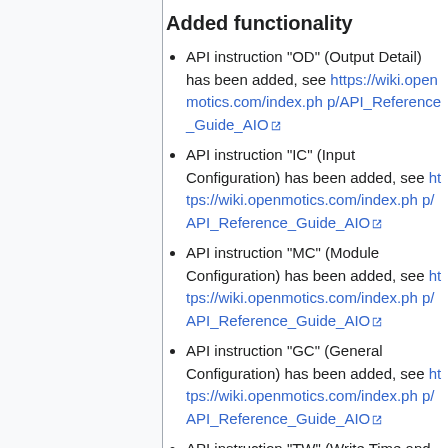Added functionality
API instruction "OD" (Output Detail) has been added, see https://wiki.openmotics.com/index.php/API_Reference_Guide_AIO
API instruction "IC" (Input Configuration) has been added, see https://wiki.openmotics.com/index.php/API_Reference_Guide_AIO
API instruction "MC" (Module Configuration) has been added, see https://wiki.openmotics.com/index.php/API_Reference_Guide_AIO
API instruction "GC" (General Configuration) has been added, see https://wiki.openmotics.com/index.php/API_Reference_Guide_AIO
API instruction "TW" (Write Time and Date) has been added, see